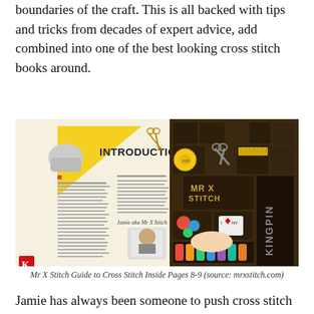boundaries of the craft. This is all backed with tips and tricks from decades of expert advice, add combined into one of the best looking cross stitch books around.
[Figure (photo): Two-page spread of the Mr X Stitch Guide to Cross Stitch book, showing the Introduction pages 8-9, with decorative sewing tools and supplies arranged in a wooden box compartment on the right side.]
Mr X Stitch Guide to Cross Stitch Inside Pages 8-9 (source: mrxstitch.com)
Jamie has always been someone to push cross stitch as